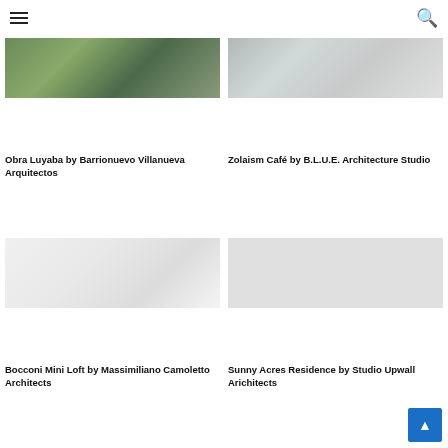navigation header with hamburger menu and search icon
[Figure (photo): Aerial/outdoor view with green trees and stone path - Obra Luyaba]
[Figure (photo): Exterior view of café with light grey tones - Zolaism Café]
Obra Luyaba by Barrionuevo Villanueva Arquitectos
Zolaism Café by B.L.U.E. Architecture Studio
[Figure (photo): Minimalist white interior with sofa and wall-mounted TV - Bocconi Mini Loft]
[Figure (photo): Light grey placeholder image - Sunny Acres Residence]
Bocconi Mini Loft by Massimiliano Camoletto Architects
Sunny Acres Residence by Studio Upwall Arichitects